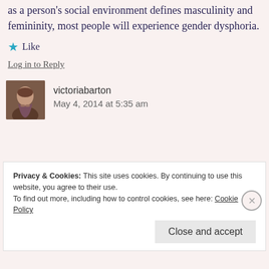as a person's social environment defines masculinity and femininity, most people will experience gender dysphoria.
★ Like
Log in to Reply
victoriabarton
May 4, 2014 at 5:35 am
Privacy & Cookies: This site uses cookies. By continuing to use this website, you agree to their use. To find out more, including how to control cookies, see here: Cookie Policy
Close and accept